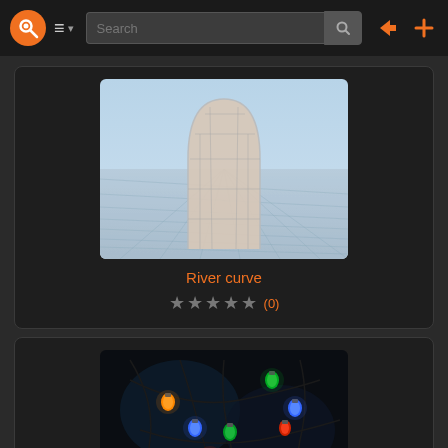[Figure (screenshot): Website navigation bar with orange logo, hamburger menu, search bar, login and add icons]
[Figure (screenshot): 3D render of a curved arch shape on a grid background - labeled River curve]
River curve
[Figure (other): Star rating: 5 empty stars with (0) review count in orange]
[Figure (photo): Photo of colorful Christmas string lights with red, blue, orange, green bulbs on dark background]